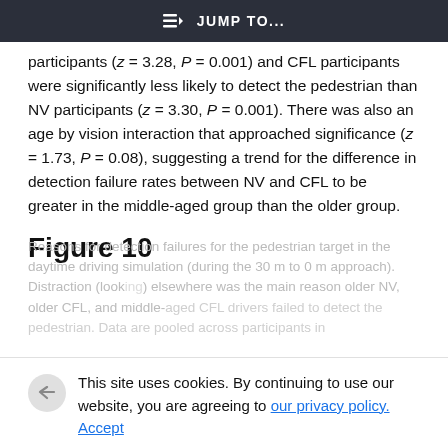≡D JUMP TO...
participants (z = 3.28, P = 0.001) and CFL participants were significantly less likely to detect the pedestrian than NV participants (z = 3.30, P = 0.001). There was also an age by vision interaction that approached significance (z = 1.73, P = 0.08), suggesting a trend for the difference in detection failure rates between NV and CFL to be greater in the middle-aged group than the older group.
Figure 10
Reasons for detection failures for the pedestrian target in the daytime driving simulation (during the 30 m to 0 m approach). Distraction (looking) elsewhere was the main reason older NV, older CFL, and middle-aged CFL drivers failed to detect the pedestrian. Data are pooled across participants in
This site uses cookies. By continuing to use our website, you are agreeing to our privacy policy.
Accept